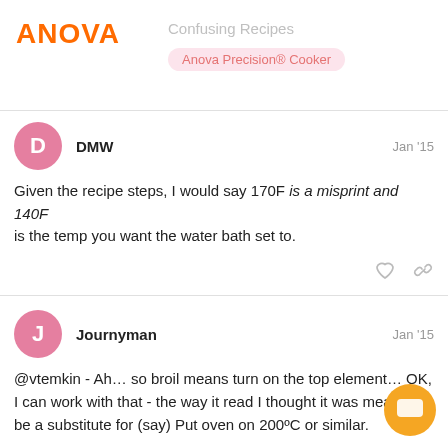ANOVA | Confusing Recipes | Anova Precision® Cooker
DMW  Jan '15
Given the recipe steps, I would say 170F is a misprint and 140F is the temp you want the water bath set to.
Journyman  Jan '15
@vtemkin - Ah… so broil means turn on the top element… OK, I can work with that - the way it read I thought it was meant to be a substitute for (say) Put oven on 200ºC or similar.
@DavidA - Um… Aussie thing - chooks are chickens, usually full grown. 😀 Chuck is chuck steak, a cut of.
@DMW - I kinda guessed at that - took a look at some other sous vide stuff and figured 170 was a bit high.